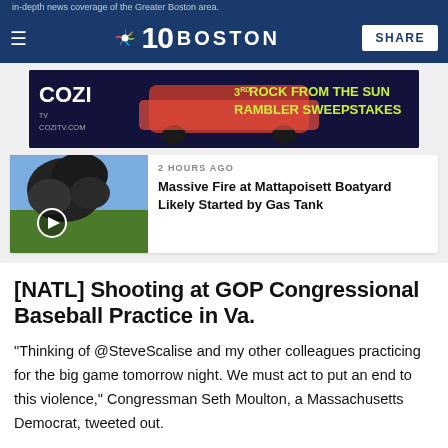in-depth news coverage of the Greater Boston area.
NBC 10 Boston — SHARE
[Figure (screenshot): COZI TV advertisement banner for '3rd Rock from the Sun Rambler Sweepstakes' with red car image, cozitv.com URL]
[Figure (photo): Aerial photo showing large black smoke column rising from a boatyard, with play button overlay]
2 HOURS AGO
Massive Fire at Mattapoisett Boatyard Likely Started by Gas Tank
[NATL] Shooting at GOP Congressional Baseball Practice in Va.
"Thinking of @SteveScalise and my other colleagues practicing for the big game tomorrow night. We must act to put an end to this violence," Congressman Seth Moulton, a Massachusetts Democrat, tweeted out.
"Horrified," Democratic Congressman Jim McGovern of Massachusetts tweeted out. "In the next hours and s...